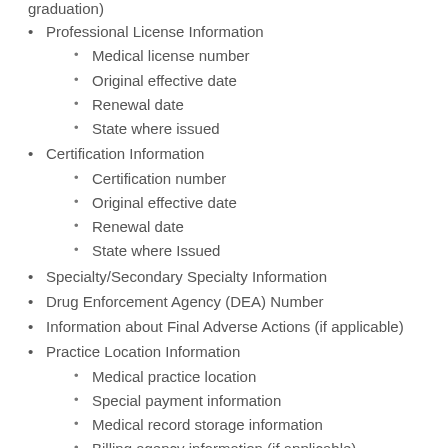graduation)
Professional License Information
Medical license number
Original effective date
Renewal date
State where issued
Certification Information
Certification number
Original effective date
Renewal date
State where Issued
Specialty/Secondary Specialty Information
Drug Enforcement Agency (DEA) Number
Information about Final Adverse Actions (if applicable)
Practice Location Information
Medical practice location
Special payment information
Medical record storage information
Billing agency information (if applicable)
Any federal, state, and/or local professional licenses, certification and/or registrations required for practice